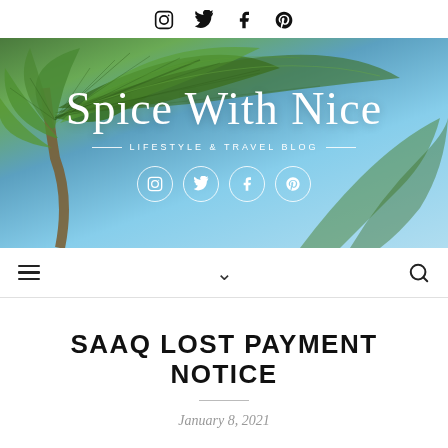Social icons: Instagram, Twitter, Facebook, Pinterest
[Figure (photo): Blog header image with palm tree leaves against a blue sky. Overlay text reads 'Spice With Nice' with subtitle 'LIFESTYLE & TRAVEL BLOG' and social media icons (Instagram, Twitter, Facebook, Pinterest) in white circles.]
Navigation bar with hamburger menu, chevron, and search icon
SAAQ LOST PAYMENT NOTICE
January 8, 2021